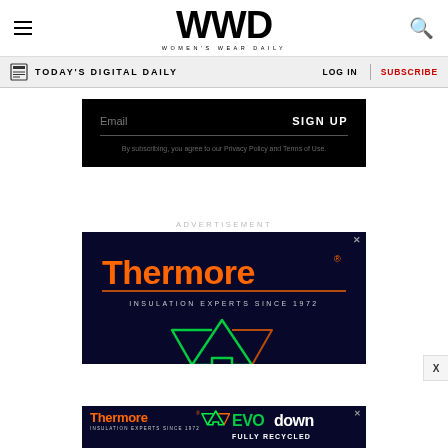WWD — Women's Wear Daily
TODAY'S DIGITAL DAILY
LOG IN
SUBSCRIBE
Email  SIGN UP
By subscribing, you agree to our Privacy Policy and Terms of Use.
ADVERTISEMENT
[Figure (screenshot): Thermore advertisement — dark navy background with orange neon-style Thermore logo and text 'INSULATION EXPERTS SINCE 1972', with glowing green recycling arrow graphic below.]
[Figure (screenshot): Thermore bottom banner ad — dark navy background with Thermore logo, recycling graphic, and text 'EVO down FULLY RECYCLED'.]